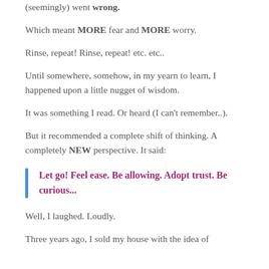(seemingly) went wrong.
Which meant MORE fear and MORE worry.
Rinse, repeat! Rinse, repeat! etc. etc..
Until somewhere, somehow, in my yearn to learn, I happened upon a little nugget of wisdom.
It was something I read. Or heard (I can't remember..).
But it recommended a complete shift of thinking. A completely NEW perspective. It said:
Let go! Feel ease. Be allowing. Adopt trust. Be curious...
Well, I laughed. Loudly.
Three years ago, I sold my house with the idea of